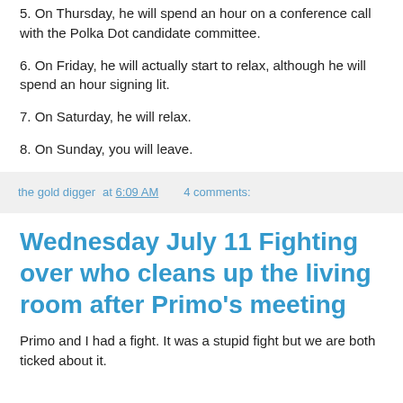5. On Thursday, he will spend an hour on a conference call with the Polka Dot candidate committee.
6. On Friday, he will actually start to relax, although he will spend an hour signing lit.
7. On Saturday, he will relax.
8. On Sunday, you will leave.
the gold digger at 6:09 AM    4 comments:
Wednesday July 11 Fighting over who cleans up the living room after Primo's meeting
Primo and I had a fight. It was a stupid fight but we are both ticked about it.